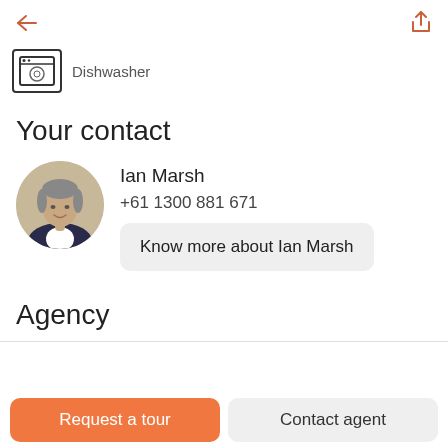[Figure (screenshot): Mobile app screen showing a real estate listing contact page]
Dishwasher
Your contact
Ian Marsh
+61 1300 881 671
Know more about Ian Marsh
Agency
Request a tour
Contact agent